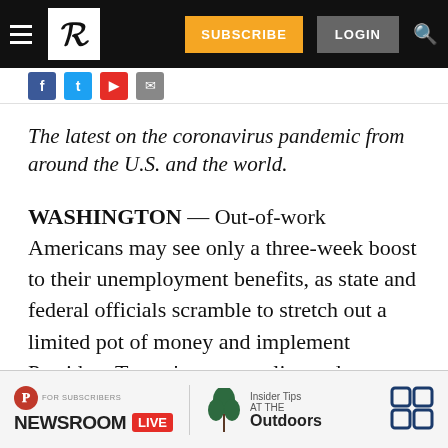Washington Post navigation bar with hamburger menu, logo, SUBSCRIBE and LOGIN buttons, and search icon
Social sharing icons: Facebook, Twitter, YouTube, Email
The latest on the coronavirus pandemic from around the U.S. and the world.
WASHINGTON — Out-of-work Americans may see only a three-week boost to their unemployment benefits, as state and federal officials scramble to stretch out a limited pot of money and implement President Trump's recent policy order.
NEWSROOM LIVE — Insider Tips at THE Outdoors